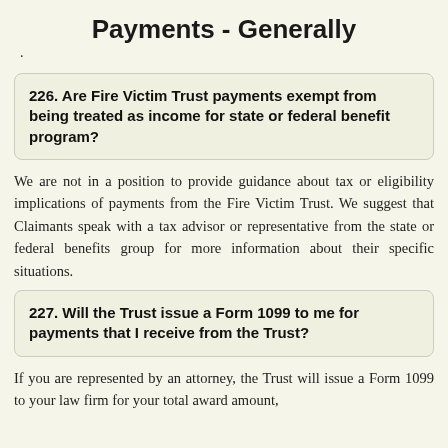Payments - Generally
226. Are Fire Victim Trust payments exempt from being treated as income for state or federal benefit program?
We are not in a position to provide guidance about tax or eligibility implications of payments from the Fire Victim Trust. We suggest that Claimants speak with a tax advisor or representative from the state or federal benefits group for more information about their specific situations.
227. Will the Trust issue a Form 1099 to me for payments that I receive from the Trust?
If you are represented by an attorney, the Trust will issue a Form 1099 to your law firm for your total award amount,